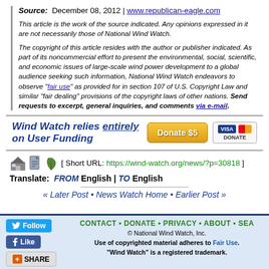Source: December 08, 2012 | www.republican-eagle.com
This article is the work of the source indicated. Any opinions expressed in it are not necessarily those of National Wind Watch.
The copyright of this article resides with the author or publisher indicated. As part of its noncommercial effort to present the environmental, social, scientific, and economic issues of large-scale wind power development to a global audience seeking such information, National Wind Watch endeavors to observe "fair use" as provided for in section 107 of U.S. Copyright Law and similar "fair dealing" provisions of the copyright laws of other nations. Send requests to excerpt, general inquiries, and comments via e-mail.
[Figure (infographic): Donate banner: Wind Watch relies entirely on User Funding. Donate $5 button with Visa/Mastercard icons.]
[ Short URL: https://wind-watch.org/news/?p=30818 ]
Translate: FROM English | TO English
« Later Post • News Watch Home • Earlier Post »
CONTACT • DONATE • PRIVACY • ABOUT • SEA... © National Wind Watch, Inc. Use of copyrighted material adheres to Fair Use. "Wind Watch" is a registered trademark.